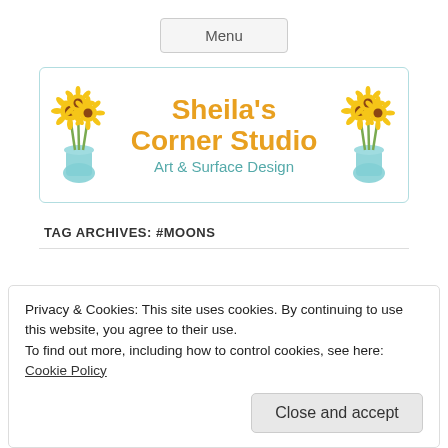Menu
[Figure (logo): Sheila's Corner Studio logo with sunflower vases and text 'Art & Surface Design']
TAG ARCHIVES: #MOONS
Privacy & Cookies: This site uses cookies. By continuing to use this website, you agree to their use.
To find out more, including how to control cookies, see here: Cookie Policy
Close and accept